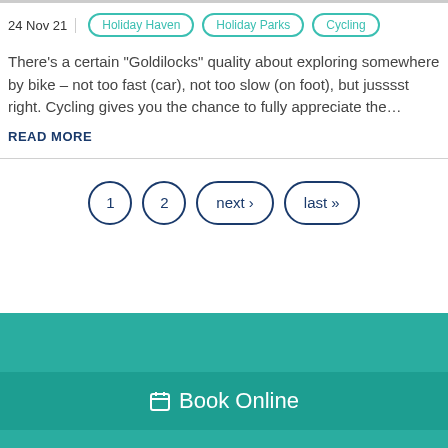24 Nov 21 | Holiday Haven | Holiday Parks | Cycling
There’s a certain “Goldilocks” quality about exploring somewhere by bike – not too fast (car), not too slow (on foot), but jusssst right. Cycling gives you the chance to fully appreciate the…
READ MORE
1  2  next ›  last »
Book Online